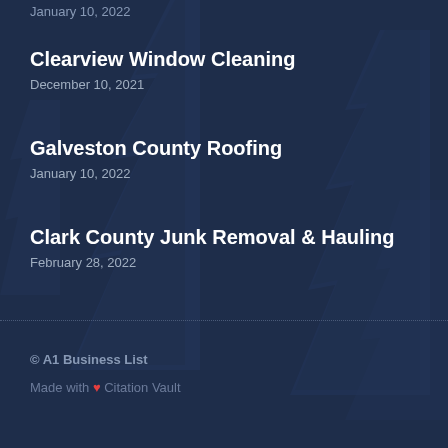January 10, 2022
Clearview Window Cleaning
December 10, 2021
Galveston County Roofing
January 10, 2022
Clark County Junk Removal & Hauling
February 28, 2022
© A1 Business List
Made with ❤ Citation Vault